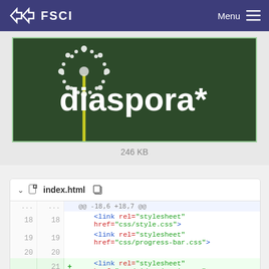FSCI  Menu
[Figure (screenshot): Diaspora* logo image with dandelion background, showing text 'diaspora*' in white on dark green background]
246 KB
index.html
| old | new |  | code |
| --- | --- | --- | --- |
| ... | ... |  | @@ -18,6 +18,7 @@ |
| 18 | 18 |  |     <link rel="stylesheet" href="css/style.css"> |
| 19 | 19 |  |     <link rel="stylesheet" href="css/progress-bar.css"> |
| 20 | 20 |  |  |
|  | 21 | + |     <link rel="stylesheet" href="css/video-js.min.css"> |
| 21 | 22 |  |  |
| 22 | 23 |  |     <!-- to be added opengraph WIP --> |